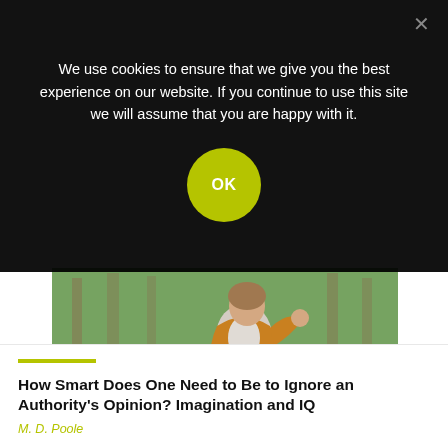We use cookies to ensure that we give you the best experience on our website. If you continue to use this site we will assume that you are happy with it.
[Figure (screenshot): A woman sitting on grass in a park wearing a yellow/mustard cardigan and white top, with trees in the background. This is a photograph used as an article header image.]
How Smart Does One Need to Be to Ignore an Authority’s Opinion? Imagination and IQ
M. D. Poole